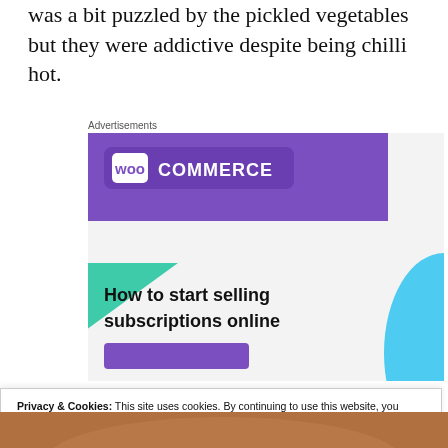was a bit puzzled by the pickled vegetables but they were addictive despite being chilli hot.
Advertisements
[Figure (screenshot): WooCommerce advertisement banner with purple header, green and blue decorative shapes, headline 'How to start selling subscriptions online', and a purple call-to-action button.]
Privacy & Cookies: This site uses cookies. By continuing to use this website, you agree to their use.
To find out more, including how to control cookies, see here: Cookie Policy
[Figure (photo): Partial photo strip at the bottom of the page showing food item in warm brown tones.]